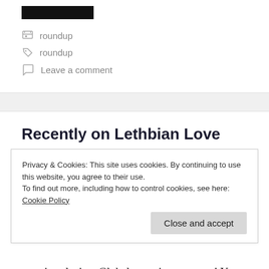[Figure (other): Black rectangle image placeholder at top of page]
roundup (category)
roundup (tag)
Leave a comment
Recently on Lethbian Love
Privacy & Cookies: This site uses cookies. By continuing to use this website, you agree to their use.
To find out more, including how to control cookies, see here: Cookie Policy
remains elusive. Global warming, my rear! Yet the snow has melted, only to reveal all sorts of garbage that has accumulated over the season. With the